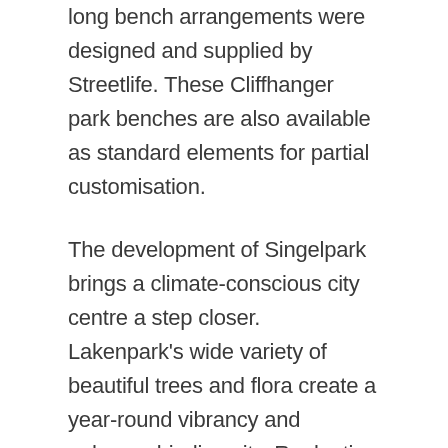long bench arrangements were designed and supplied by Streetlife. These Cliffhanger park benches are also available as standard elements for partial customisation.
The development of Singelpark brings a climate-conscious city centre a step closer. Lakenpark's wide variety of beautiful trees and flora create a year-round vibrancy and enhance biodiversity. Replanting trees and reducing paving by 40% has also greatly diminished heat stress in the urban core.
Lakenpark was designed as an inclusive project. Residents of all ages contributed their ideas, not least when it came to the stimulating natural playground and